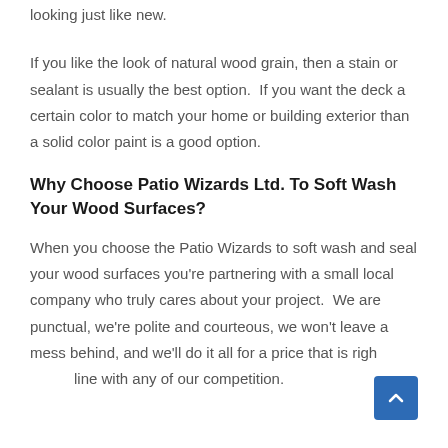looking just like new.
If you like the look of natural wood grain, then a stain or sealant is usually the best option.  If you want the deck a certain color to match your home or building exterior than a solid color paint is a good option.
Why Choose Patio Wizards Ltd. To Soft Wash Your Wood Surfaces?
When you choose the Patio Wizards to soft wash and seal your wood surfaces you're partnering with a small local company who truly cares about your project.  We are punctual, we're polite and courteous, we won't leave a mess behind, and we'll do it all for a price that is right in line with any of our competition.